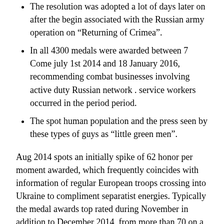The resolution was adopted a lot of days later on after the begin associated with the Russian army operation on “Returning of Crimea”.
In all 4300 medals were awarded between 7 Come july 1st 2014 and 18 January 2016, recommending combat businesses involving active duty Russian network . service workers occurred in the period period.
The spot human population and the press seen by these types of guys as “little green men”.
Aug 2014 spots an initially spike of 62 honor per moment awarded, which frequently coincides with information of regular European troops crossing into Ukraine to compliment separatist energies. Typically the medal awards top rated during November in addition to December 2014, from more than 70 on a daily basis, that has been a fresh crucial turning level through the Second Struggle of Donetsk Air-port, moving forward to